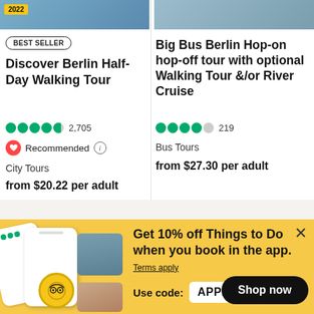[Figure (screenshot): Top portion of a product image for Discover Berlin Half-Day Walking Tour with 2022 badge]
BEST SELLER
Discover Berlin Half-Day Walking Tour
2,705 reviews, 5-star rating, Recommended
City Tours
from $20.22 per adult
[Figure (screenshot): Top portion of a product image for Big Bus Berlin Hop-on hop-off tour]
Big Bus Berlin Hop-on hop-off tour with optional Walking Tour &/or River Cruise
219 reviews, 4-star rating
Bus Tours
from $27.30 per adult
[Figure (infographic): Promotional banner with phone mockup illustrations showing the TripAdvisor app]
Get 10% off Things to Do when you book in the app.
Terms apply
Use code: APP10
Shop now